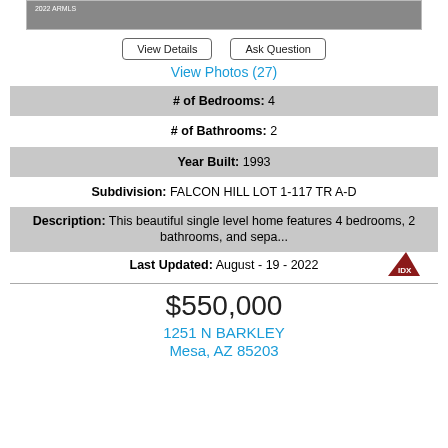[Figure (photo): Aerial or exterior photo of property with MLS watermark '2022 ARMLS']
View Details | Ask Question
View Photos (27)
# of Bedrooms: 4
# of Bathrooms: 2
Year Built: 1993
Subdivision: FALCON HILL LOT 1-117 TR A-D
Description: This beautiful single level home features 4 bedrooms, 2 bathrooms, and sepa...
Last Updated: August - 19 - 2022
[Figure (logo): IDX logo - red triangle with IDX text]
$550,000
1251 N BARKLEY
Mesa, AZ 85203